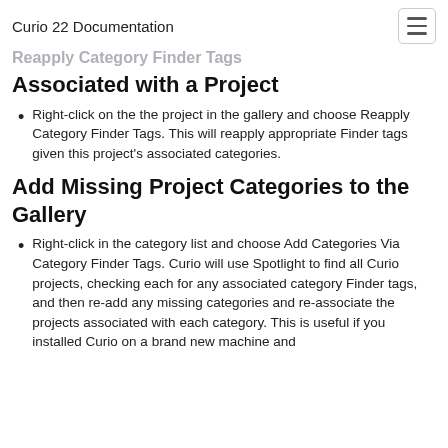Curio 22 Documentation
Reapply Category Finder Tags
Associated with a Project
Right-click on the the project in the gallery and choose Reapply Category Finder Tags. This will reapply appropriate Finder tags given this project's associated categories.
Add Missing Project Categories to the Gallery
Right-click in the category list and choose Add Categories Via Category Finder Tags. Curio will use Spotlight to find all Curio projects, checking each for any associated category Finder tags, and then re-add any missing categories and re-associate the projects associated with each category. This is useful if you installed Curio on a brand new machine and